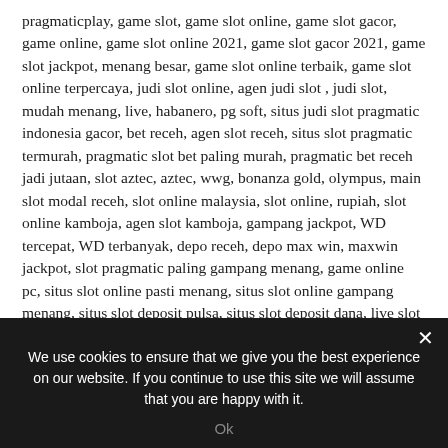pragmaticplay, game slot, game slot online, game slot gacor, game online, game slot online 2021, game slot gacor 2021, game slot jackpot, menang besar, game slot online terbaik, game slot online terpercaya, judi slot online, agen judi slot , judi slot, mudah menang, live, habanero, pg soft, situs judi slot pragmatic indonesia gacor, bet receh, agen slot receh, situs slot pragmatic termurah, pragmatic slot bet paling murah, pragmatic bet receh jadi jutaan, slot aztec, aztec, wwg, bonanza gold, olympus, main slot modal receh, slot online malaysia, slot online, rupiah, slot online kamboja, agen slot kamboja, gampang jackpot, WD tercepat, WD terbanyak, depo receh, depo max win, maxwin jackpot, slot pragmatic paling gampang menang, game online pc, situs slot online pasti menang, situs slot online gampang menang, situs slot deposit pulsa, situs slot deposit ovo, situs slot deposit dana, live slot instagram, live slot tiktok,
We use cookies to ensure that we give you the best experience on our website. If you continue to use this site we will assume that you are happy with it.
Ok